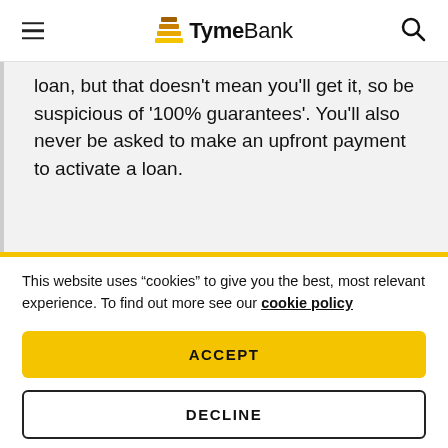TymeBank
loan, but that doesn't mean you'll get it, so be suspicious of '100% guarantees'. You'll also never be asked to make an upfront payment to activate a loan.
This website uses “cookies” to give you the best, most relevant experience. To find out more see our cookie policy
ACCEPT
DECLINE